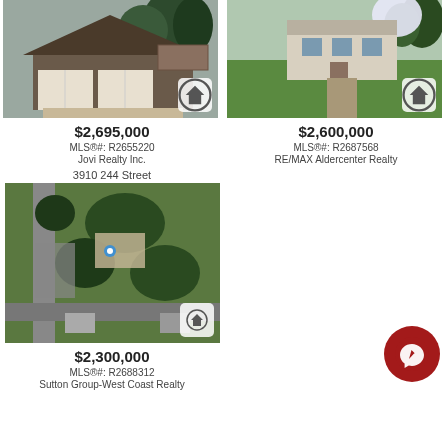[Figure (photo): Exterior photo of a house with garage and deck, surrounded by trees]
$2,695,000
MLS®#: R2655220
Jovi Realty Inc.
[Figure (photo): Exterior photo of a house with large green lawn and flowering tree]
$2,600,000
MLS®#: R2687568
RE/MAX Aldercenter Realty
3910 244 Street
[Figure (photo): Aerial/satellite view of a large property with trees and buildings at 3910 244 Street]
$2,300,000
MLS®#: R2688312
Sutton Group-West Coast Realty